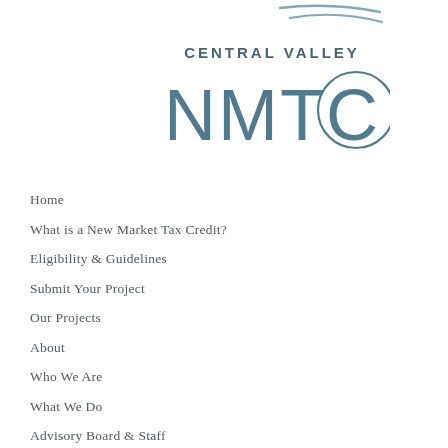[Figure (logo): Central Valley NMTC logo with decorative lines and circle, text reads CENTRAL VALLEY NMTC]
Home
What is a New Market Tax Credit?
Eligibility & Guidelines
Submit Your Project
Our Projects
About
Who We Are
What We Do
Advisory Board & Staff
News
Privacy Policy
Contact